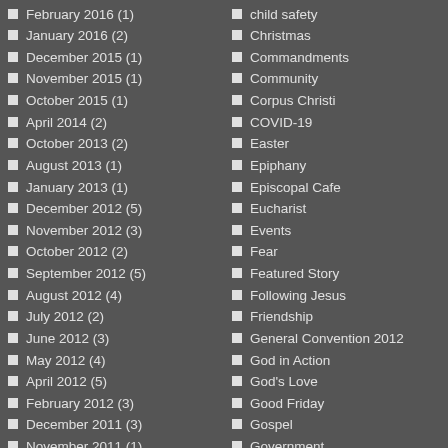February 2016 (1)
January 2016 (2)
December 2015 (1)
November 2015 (1)
October 2015 (1)
April 2014 (2)
October 2013 (2)
August 2013 (1)
January 2013 (1)
December 2012 (5)
November 2012 (3)
October 2012 (2)
September 2012 (5)
August 2012 (4)
July 2012 (2)
June 2012 (3)
May 2012 (4)
April 2012 (5)
February 2012 (3)
December 2011 (3)
November 2011 (1)
October 2011 (2)
child safety
Christmas
Commandments
Community
Corpus Christi
COVID-19
Easter
Epiphany
Episcopal Cafe
Eucharist
Events
Fear
Featured Story
Following Jesus
Friendship
General Convention 2012
God in Action
God's Love
Good Friday
Gospel
Government
Gun Control